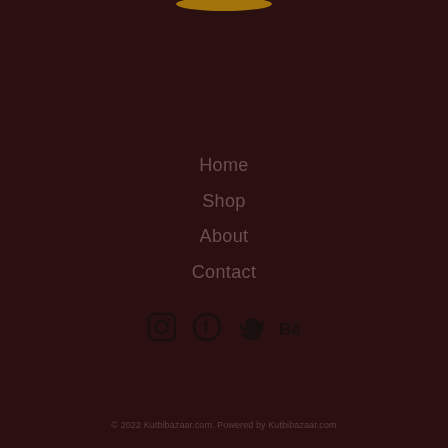[Figure (logo): Partial logo at top center, golden/amber colored emblem partially visible]
Home
Shop
About
Contact
[Figure (illustration): Social media icons row: Instagram, Facebook, Twitter, Behance]
© 2022 Kutbibazaar.com. Powered by Kutbibazaar.com